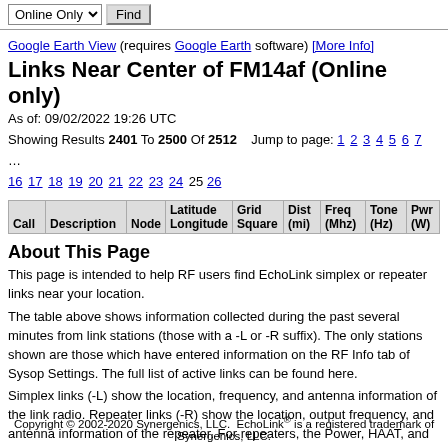Google Earth View (requires Google Earth software) [More Info]
Links Near Center of FM14af (Online only)
As of: 09/02/2022 19:26 UTC
Showing Results 2401 To 2500 Of 2512  Jump to page: 1 2 3 4 5 6 7 ... 16 17 18 19 20 21 22 23 24 25 26
| Call | Description | Node | Latitude Longitude | Grid Square | Dist (mi) | Freq (Mhz) | Tone (Hz) | Pwr (W) | Haat (ft) | Ant |
| --- | --- | --- | --- | --- | --- | --- | --- | --- | --- | --- |
About This Page
This page is intended to help RF users find EchoLink simplex or repeater links near your location.
The table above shows information collected during the past several minutes from link stations (those with a -L or -R suffix). The only stations shown are those which have entered information on the RF Info tab of Sysop Settings. The full list of active links can be found here.
Simplex links (-L) show the location, frequency, and antenna information of the link radio. Repeater links (-R) show the location, output frequency, and antenna information of the repeater. For repeaters, the Power, HAAT, and Antenna columns are approximate.
Copyright © 2002-2020 Synergenics, LLC.  EchoLink® is a registered trademark of Synergenics, LLC.